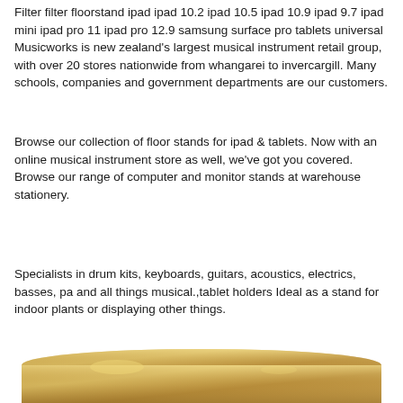Filter filter floorstand ipad ipad 10.2 ipad 10.5 ipad 10.9 ipad 9.7 ipad mini ipad pro 11 ipad pro 12.9 samsung surface pro tablets universal Musicworks is new zealand's largest musical instrument retail group, with over 20 stores nationwide from whangarei to invercargill. Many schools, companies and government departments are our customers.
Browse our collection of floor stands for ipad & tablets. Now with an online musical instrument store as well, we've got you covered. Browse our range of computer and monitor stands at warehouse stationery.
Specialists in drum kits, keyboards, guitars, acoustics, electrics, basses, pa and all things musical.,tablet holders Ideal as a stand for indoor plants or displaying other things.
[Figure (photo): Partial view of a golden/tan colored cylindrical or tubular object, possibly a floor stand or tablet holder, shown at the bottom of the page.]